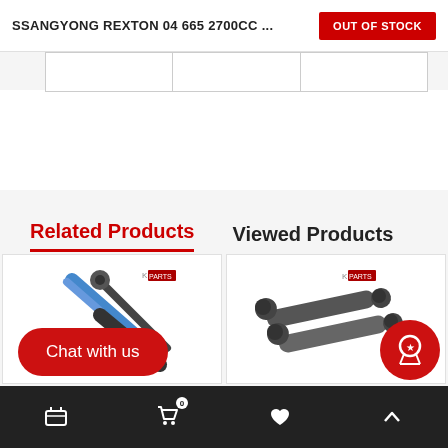SSANGYONG REXTON 04 665 2700CC ...
OUT OF STOCK
|  |  |  |
Related Products
Viewed Products
[Figure (photo): Front shock absorber / strut assembly with blue spring, K PARTS branded]
[Figure (photo): Pair of rear shock absorbers, K PARTS branded]
Chat with us
Cart | 0 | Wishlist | Up